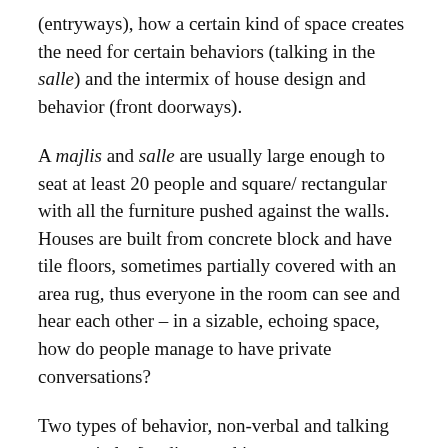(entryways), how a certain kind of space creates the need for certain behaviors (talking in the salle) and the intermix of house design and behavior (front doorways).
A majlis and salle are usually large enough to seat at least 20 people and square/ rectangular with all the furniture pushed against the walls. Houses are built from concrete block and have tile floors, sometimes partially covered with an area rug, thus everyone in the room can see and hear each other – in a sizable, echoing space, how do people manage to have private conversations?
Two types of behavior, non-verbal and talking very quietly, [as discussed in: https://mariellerisse.com/2021/07/03/houseways-